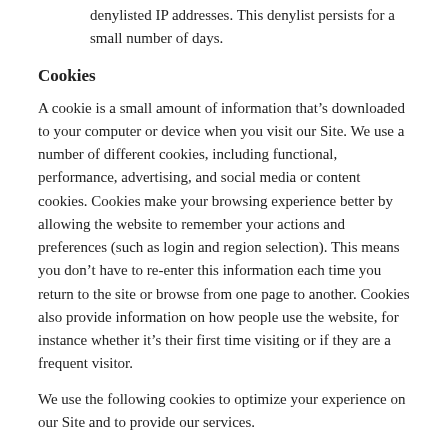denylisted IP addresses. This denylist persists for a small number of days.
Cookies
A cookie is a small amount of information that’s downloaded to your computer or device when you visit our Site. We use a number of different cookies, including functional, performance, advertising, and social media or content cookies. Cookies make your browsing experience better by allowing the website to remember your actions and preferences (such as login and region selection). This means you don’t have to re-enter this information each time you return to the site or browse from one page to another. Cookies also provide information on how people use the website, for instance whether it’s their first time visiting or if they are a frequent visitor.
We use the following cookies to optimize your experience on our Site and to provide our services.
Cookie Name for the Functioning of the S...